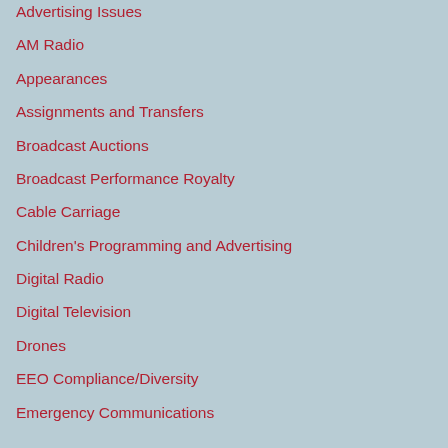Advertising Issues
AM Radio
Appearances
Assignments and Transfers
Broadcast Auctions
Broadcast Performance Royalty
Cable Carriage
Children's Programming and Advertising
Digital Radio
Digital Television
Drones
EEO Compliance/Diversity
Emergency Communications